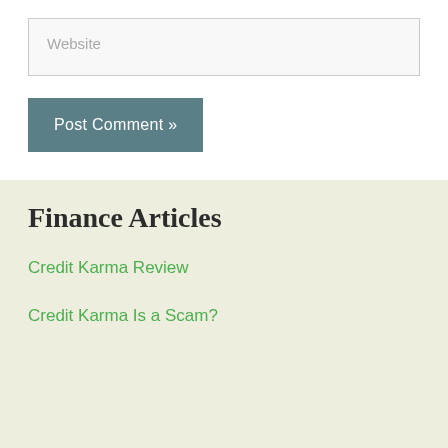Website
Post Comment »
Finance Articles
Credit Karma Review
Credit Karma Is a Scam?